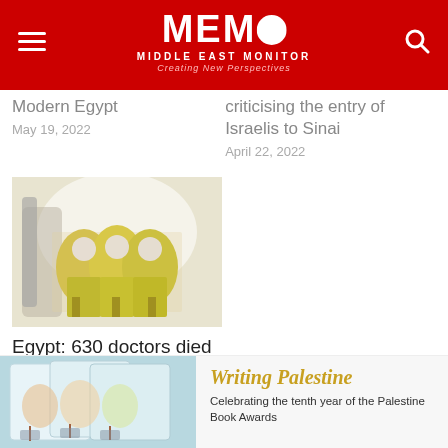MEMO Middle East Monitor — Creating New Perspectives
Modern Egypt
May 19, 2022
criticising the entry of Israelis to Sinai
April 22, 2022
[Figure (photo): Three people in yellow hazmat suits and masks standing in a bright room with medical equipment]
Egypt: 630 doctors died of covid
November 9, 2021
[Figure (photo): Colorful illustrated book covers with trees and houses]
Writing Palestine
Celebrating the tenth year of the Palestine Book Awards